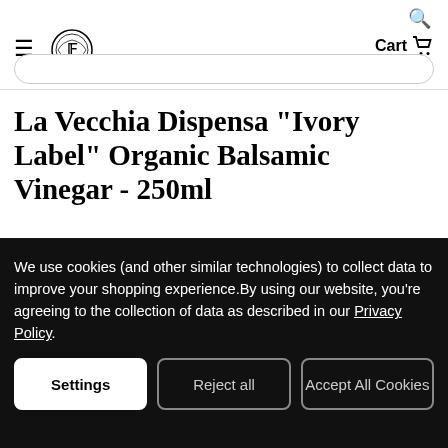La Vecchia Dispensa – navigation header with hamburger menu, logo, search icon, and Cart
La Vecchia Dispensa "Ivory Label" Organic Balsamic Vinegar - 250ml
La Vecchia Dispensa
★★★★★ (2 reviews)  Write a Review
We use cookies (and other similar technologies) to collect data to improve your shopping experience.By using our website, you're agreeing to the collection of data as described in our Privacy Policy.
Settings  Reject all  Accept All Cookies